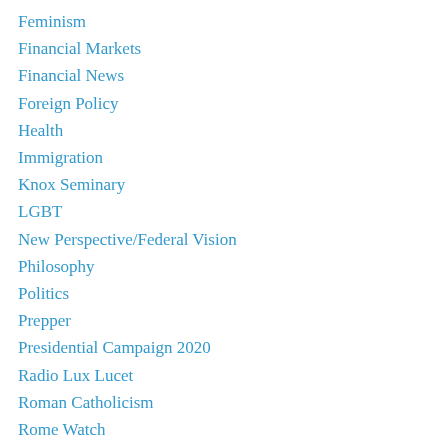Feminism
Financial Markets
Financial News
Foreign Policy
Health
Immigration
Knox Seminary
LGBT
New Perspective/Federal Vision
Philosophy
Politics
Prepper
Presidential Campaign 2020
Radio Lux Lucet
Roman Catholicism
Rome Watch
Rum Romanism and Rebellion
Russian-Ukrainian War
Scripturalism
Scripturalist Short Takes